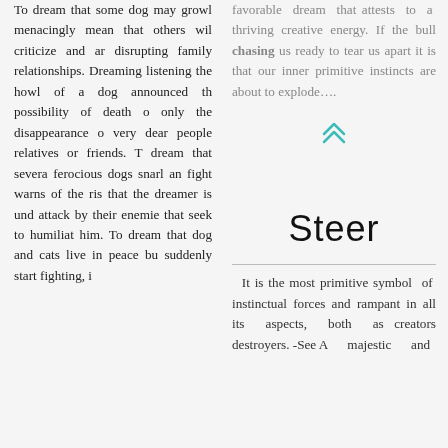To dream that some dogs may growl menacingly mean that others will criticize and are disrupting family relationships. Dreaming listening the howl of a dog announced the possibility of death o only the disappearance of very dear people relatives or friends. To dream that several ferocious dogs snarl and fight warns of the risk that the dreamer is under attack by their enemies that seek to humiliate him. To dream that dogs and cats live in peace but suddenly start fighting, i
favorable dream that attests to a thriving creative energy. If the bull chasing us ready to tear us apart it is that our inner primitive instincts are about to explode….
Steer
It is the most primitive symbol of instinctual forces and rampant in all its aspects, both as creators destroyers. -See A majestic and